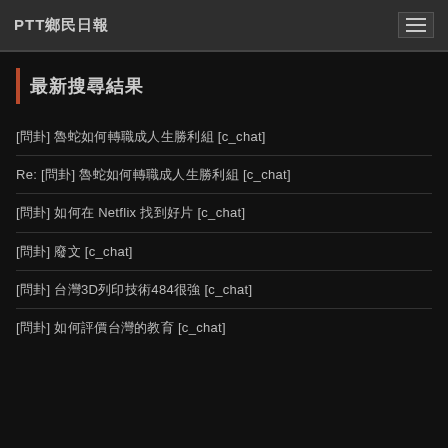PTT鄉民日報
最新搜尋結果
[問卦] 魯蛇如何轉職成人生勝利組 [c_chat]
Re: [問卦] 魯蛇如何轉職成人生勝利組 [c_chat]
[問卦] 如何在 Netflix 找到好片 [c_chat]
[問卦] 廢文 [c_chat]
[問卦] 台灣3D列印技術484很強 [c_chat]
[問卦] 如何評價台灣的教育 [c_chat]